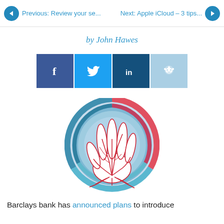Previous: Review your se...   Next: Apple iCloud – 3 tips...
by John Hawes
[Figure (infographic): Social sharing buttons: Facebook (dark blue), Twitter (blue), LinkedIn (dark navy), Reddit (light blue)]
[Figure (illustration): Illustration of a hand with vein patterns shown in red, set against a circular blue and red technological background pattern]
Barclays bank has announced plans to introduce